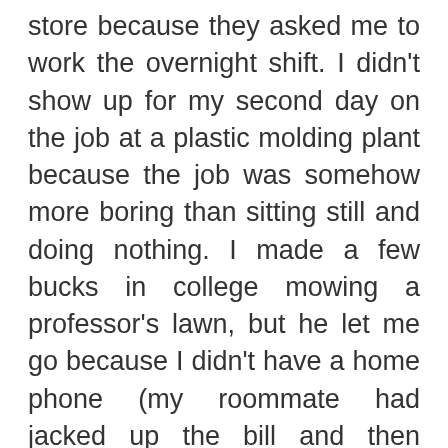store because they asked me to work the overnight shift. I didn't show up for my second day on the job at a plastic molding plant because the job was somehow more boring than sitting still and doing nothing. I made a few bucks in college mowing a professor's lawn, but he let me go because I didn't have a home phone (my roommate had jacked up the bill and then bailed) and he couldn't call me in the event of a lawn emergency. I've been laid off numerous times, quit my job twice because I moved, and most recently quit a job I'd had for